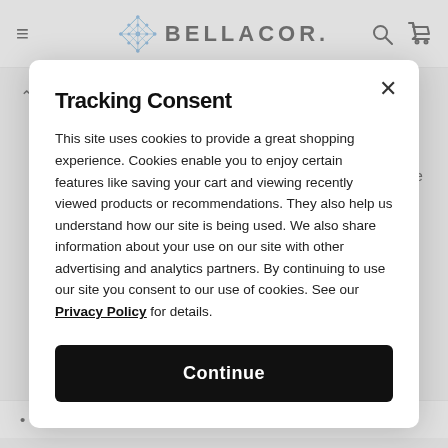BELLACOR.
Description
Bathroom lighting gives you a chance to show off the tile, wallpaper, and fixtures you love, so look to 251 First for lights to mount above the vanity and other key spots in the
Tracking Consent
This site uses cookies to provide a great shopping experience. Cookies enable you to enjoy certain features like saving your cart and viewing recently viewed products or recommendations. They also help us understand how our site is being used. We also share information about your use on our site with other advertising and analytics partners. By continuing to use our site you consent to our use of cookies. See our Privacy Policy for details.
Continue
Wire Length: 6 Inches